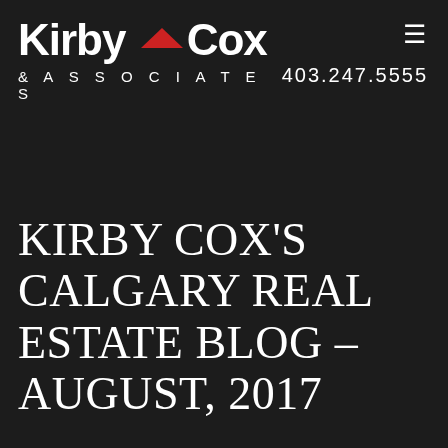[Figure (logo): Kirby Cox & Associates real estate company logo with white text and red roof icon on dark background]
403.247.5555
KIRBY COX'S CALGARY REAL ESTATE BLOG – AUGUST, 2017